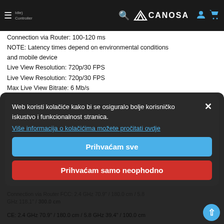Idle | Controller | Latency: Connection via Wi-Fi 80-100 ms — CANOSA header bar
Connection via Router: 100-120 ms
NOTE: Latency times depend on environmental conditions and mobile device
Live View Resolution: 720p/30 FPS
Live View Resolution: 720p/30 FPS
Max Live View Bitrate: 6 Mb/s
Operating Frequencies: 2.4 GHz, 5.1 GHz, and 5.8 GHz
Operating Mode: Connection via Wi-Fi
Connection via Router
Maximum Transmission Distance: Connection via Wi-Fi
FCC: 2.4 GHz 55.1" / 120.0 cm / 5.8 GHz 35.4" / 90.0 cm
CE: 2.4 GHz 55.1" / 140.0 cm / 5.8 GHz 27.6" / 70.0 cm
SRRC: 2.4 GHz 51.2" / 130.0 cm / 5.8 GHz 51.2" / 130.0 cm
MIC: 2.4 GHz 66.9" / 170.0 cm / 5.1 GHz 55.1" / 140.0 cm
Connection via Router FCC: 2.4 GHz 70.9" / 180.0 cm / 5.8 GHz 118.1" / 300.0 cm
CE: 2.4 GHz 70.9" / 180.0 cm / 5.8 GHz 39.4" / 100.0 cm
Web koristi kolačiće kako bi se osiguralo bolje korisničko iskustvo i funkcionalnost stranica.
Više informacija o kolačićima možete pročitati ovdje
Prihvaćam sve
Prihvaćam samo neophodno